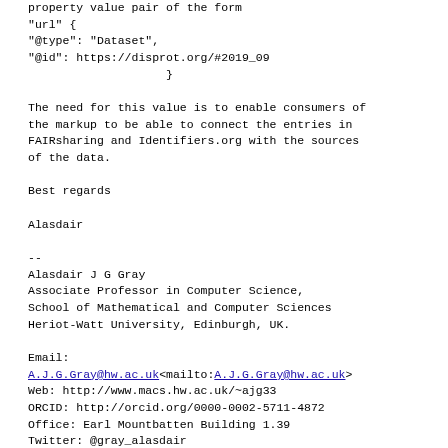property value pair of the form
"url" {
"@type": "Dataset",
"@id": https://disprot.org/#2019_09
                    }

The need for this value is to enable consumers of the markup to be able to connect the entries in FAIRsharing and Identifiers.org with the sources of the data.

Best regards

Alasdair

--
Alasdair J G Gray
Associate Professor in Computer Science,
School of Mathematical and Computer Sciences
Heriot-Watt University, Edinburgh, UK.

Email:
A.J.G.Gray@hw.ac.uk<mailto:A.J.G.Gray@hw.ac.uk>
Web: http://www.macs.hw.ac.uk/~ajg33
ORCID: http://orcid.org/0000-0002-5711-4872
Office: Earl Mountbatten Building 1.39
Twitter: @gray_alasdair

To arrange a meeting: